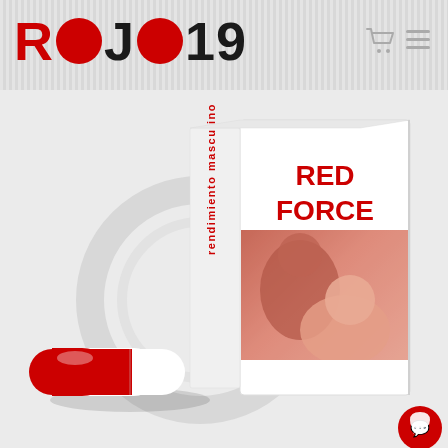[Figure (logo): ROJO19 logo with red circles replacing the letter O, on a striped grey banner header]
[Figure (photo): Product page for RED FORCE supplement: a red and white capsule pill on the left, and a white product box labeled RED FORCE with 'rendimiento masculino' on the spine and a romantic couple photo on the front, on a light grey background. A red chat bubble icon is in the bottom right corner.]